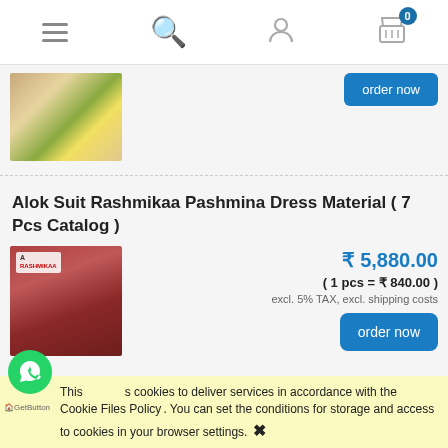[Figure (screenshot): Mobile e-commerce website navigation bar with hamburger menu, search icon, user icon, and cart icon with badge showing 0]
[Figure (photo): Green and floral printed dress material product image (partially visible, top product listing)]
order now
Alok Suit Rashmikaa Pashmina Dress Material ( 7 Pcs Catalog )
[Figure (photo): Red/maroon Pashmina dress material with woman model and decorative background]
₹ 5,880.00
( 1 pcs = ₹ 840.00 )
excl. 5% TAX, excl. shipping costs
order now
This uses cookies to deliver services in accordance with the Cookie Files Policy. You can set the conditions for storage and access to cookies in your browser settings.